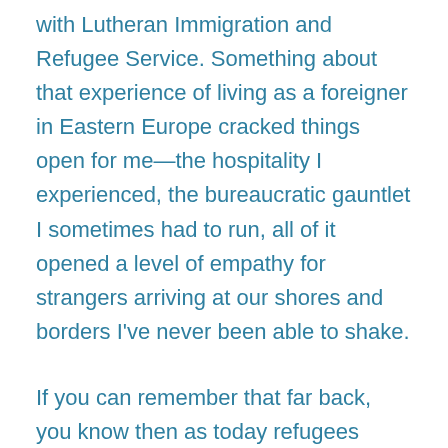with Lutheran Immigration and Refugee Service. Something about that experience of living as a foreigner in Eastern Europe cracked things open for me—the hospitality I experienced, the bureaucratic gauntlet I sometimes had to run, all of it opened a level of empathy for strangers arriving at our shores and borders I've never been able to shake.
If you can remember that far back, you know then as today refugees were looked upon with suspicion and lumped in with bad